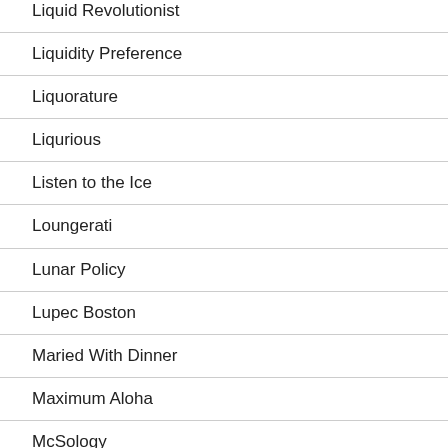Liquid Revolutionist
Liquidity Preference
Liquorature
Liqurious
Listen to the Ice
Loungerati
Lunar Policy
Lupec Boston
Maried With Dinner
Maximum Aloha
McSology
Mixe...